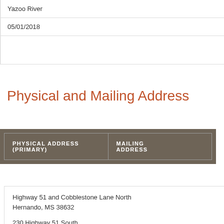Yazoo River
05/01/2018
Physical and Mailing Address
| PHYSICAL ADDRESS (PRIMARY) | MAILING ADDRESS |
| --- | --- |
| Highway 51 and Cobblestone Lane North
Hernando, MS 38632 |  |
| 230 Highway 51 South
Hernando, MS 38632 |  |
Highway 51 and Cobblestone Lane North
Hernando, MS 38632
230 Highway 51 South